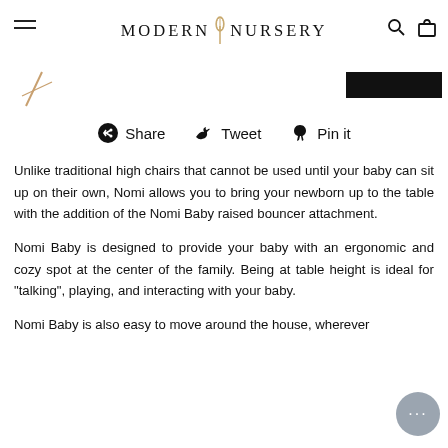MODERN NURSERY
[Figure (screenshot): Thumbnail image strip with a small angled stick/item image on the left and a black rectangle on the right]
Share  Tweet  Pin it
Unlike traditional high chairs that cannot be used until your baby can sit up on their own, Nomi allows you to bring your newborn up to the table with the addition of the Nomi Baby raised bouncer attachment.
Nomi Baby is designed to provide your baby with an ergonomic and cozy spot at the center of the family. Being at table height is ideal for "talking", playing, and interacting with your baby.
Nomi Baby is also easy to move around the house, wherever